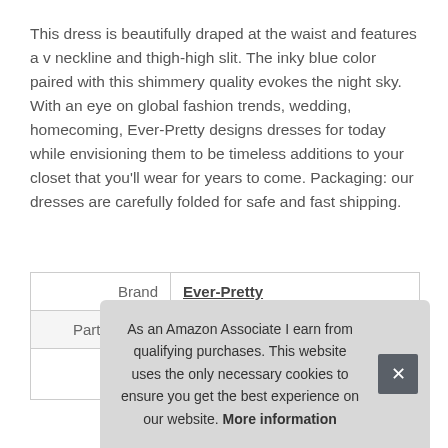This dress is beautifully draped at the waist and features a v neckline and thigh-high slit. The inky blue color paired with this shimmery quality evokes the night sky. With an eye on global fashion trends, wedding, homecoming, Ever-Pretty designs dresses for today while envisioning them to be timeless additions to your closet that you'll wear for years to come. Packaging: our dresses are carefully folded for safe and fast shipping.
|  |  |
| --- | --- |
| Brand | Ever-Pretty |
| Part Number | EP07505NB06 |
As an Amazon Associate I earn from qualifying purchases. This website uses the only necessary cookies to ensure you get the best experience on our website. More information